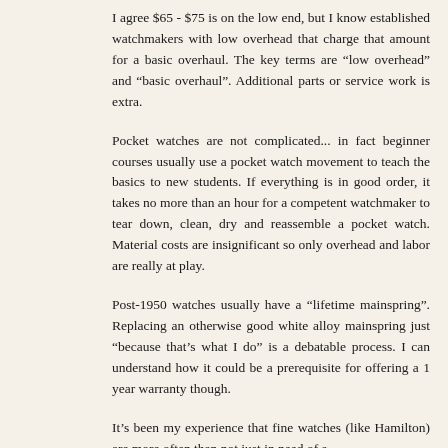I agree $65 - $75 is on the low end, but I know established watchmakers with low overhead that charge that amount for a basic overhaul. The key terms are “low overhead” and “basic overhaul”. Additional parts or service work is extra.
Pocket watches are not complicated... in fact beginner courses usually use a pocket watch movement to teach the basics to new students. If everything is in good order, it takes no more than an hour for a competent watchmaker to tear down, clean, dry and reassemble a pocket watch. Material costs are insignificant so only overhead and labor are really at play.
Post-1950 watches usually have a "lifetime mainspring". Replacing an otherwise good white alloy mainspring just "because that’s what I do" is a debatable process. I can understand how it could be a prerequisite for offering a 1 year warranty though.
It’s been my experience that fine watches (like Hamilton) are more often than not just in need of a